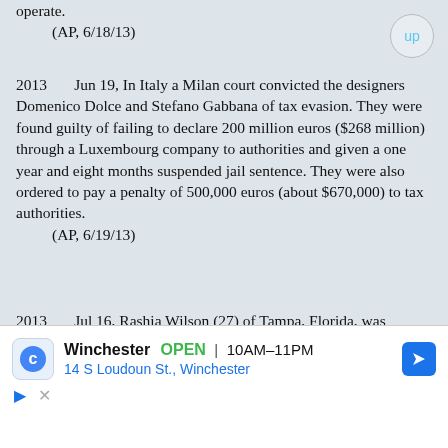operate.
    (AP, 6/18/13)
2013    Jun 19, In Italy a Milan court convicted the designers Domenico Dolce and Stefano Gabbana of tax evasion. They were found guilty of failing to declare 200 million euros ($268 million) through a Luxembourg company to authorities and given a one year and eight months suspended jail sentence. They were also ordered to pay a penalty of 500,000 euros (about $670,000) to tax authorities.
    (AP, 6/19/13)
2013    Jul 16, Rashia Wilson (27) of Tampa, Florida, was sentenced to 21 years in prison for tax fraud. She and eager associates had claimed bogus tax refunds of over $11 million.
    (http://tinyurl.com/nzj479x)(Econ, 11/30/13, p.27)
[Figure (infographic): Advertisement banner for Winchester showing store name, OPEN status, hours 10AM-11PM, address 14 S Loudoun St., Winchester, with navigation arrow icon and Google logo-like icon]